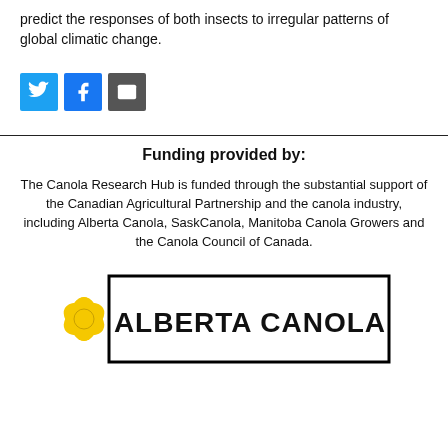predict the responses of both insects to irregular patterns of global climatic change.
[Figure (other): Social media share buttons: Twitter (blue bird icon), Facebook (blue f icon), Email (dark envelope icon)]
Funding provided by:
The Canola Research Hub is funded through the substantial support of the Canadian Agricultural Partnership and the canola industry, including Alberta Canola, SaskCanola, Manitoba Canola Growers and the Canola Council of Canada.
[Figure (logo): Alberta Canola logo with yellow flower graphic and bold text ALBERTA CANOLA]